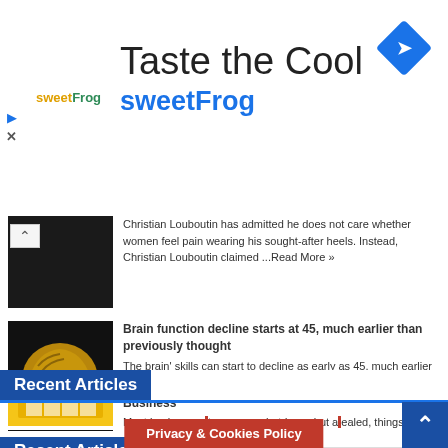[Figure (screenshot): SweetFrog advertisement banner with logo, 'Taste the Cool' headline and navigation arrow icon]
Christian Louboutin has admitted he does not care whether women feel pain wearing his sought-after heels. Instead, Christian Louboutin claimed ...Read More »
Brain function decline starts at 45, much earlier than previously thought
The brain' skills can start to decline as early as 45, much earlier than previously thought, suggests a study published ...Read More »
Recent Articles
10 Things that Can Temporarily Shut Down Your Business
Most businesses temporary shutdown, but a...ealed, things can
Privacy & Cookies Policy